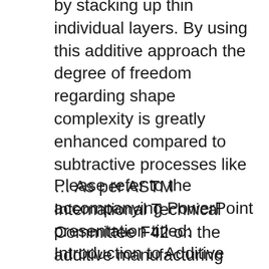by stacking up thin individual layers. By using this additive approach the degree of freedom regarding shape complexity is greatly enhanced compared to subtractive processes like … As per ASTM International Technical Committee F42 on the additive manufacturing technologies, the different techniques of additive manufacturing fiber reinforced polymeric composite materials can be classified into the following: powder bed fusion, sheet lamination, photo …
Please refer to the accompanying PowerPoint presentation titled: Introduction to Additive Manufacturing and Standard Terminology B. Additive Manufacturing (See Slide 2) a.